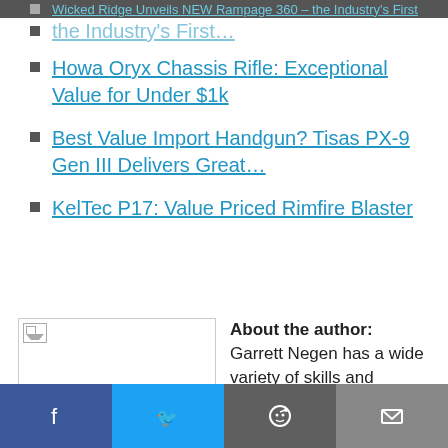Wicked Ridge Unveils NEW Rampage 360 - the Industry's First...
Howa Oryx Chassis Rifle: Exceptional Value for Under $1k
Best Value Import Handgun? Tisas PX-9 Gen III Delivers Great...
KelTec P17: Value Priced Rimfire Blaster
[Figure (photo): Author photo placeholder image]
About the author: Garrett Negen has a wide variety of skills and interests. His profession as an engineer in the steel industry falls right in line with his hands-on approach to his hobbies. Whether it's ham radio, shooting, ys happy when he has a keep up with his current